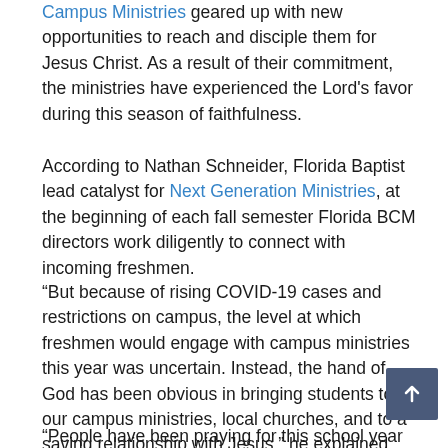Campus Ministries geared up with new opportunities to reach and disciple them for Jesus Christ. As a result of their commitment, the ministries have experienced the Lord's favor during this season of faithfulness.
According to Nathan Schneider, Florida Baptist lead catalyst for Next Generation Ministries, at the beginning of each fall semester Florida BCM directors work diligently to connect with incoming freshmen.
“But because of rising COVID-19 cases and restrictions on campus, the level at which freshmen would engage with campus ministries this year was uncertain. Instead, the hand of God has been obvious in bringing students to our campus ministries, local churches, and to a saving relationship with Jesus,” he explained.
“People have been praying for this school year and